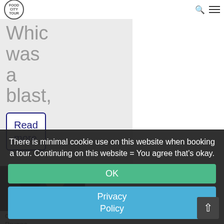Logo | Search | Menu
Which was a blast,
Read more
[Figure (photo): Two women posing together for a photo thumbnail]
of Brugge – Janis & Laila
There is minimal cookie use on this website when booking a tour. Continuing on this website = You agree that's okay.
OK
Privacy Policy